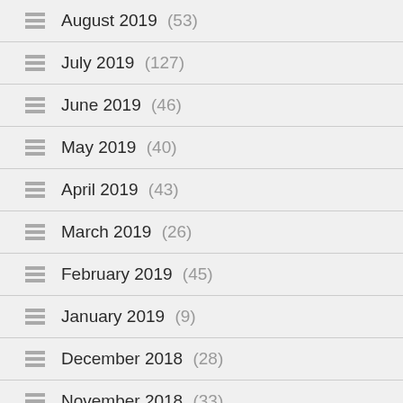August 2019 (53)
July 2019 (127)
June 2019 (46)
May 2019 (40)
April 2019 (43)
March 2019 (26)
February 2019 (45)
January 2019 (9)
December 2018 (28)
November 2018 (33)